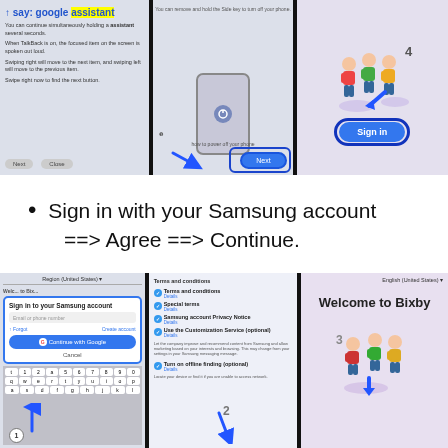[Figure (screenshot): Three smartphone screenshots side by side showing TalkBack tutorial screens and a sign-in button highlighted with a blue rectangle]
Sign in with your Samsung account ==> Agree ==> Continue.
[Figure (screenshot): Three smartphone screenshots showing Samsung account sign-in form with Google button, terms and conditions checklist, and Welcome to Bixby screen]